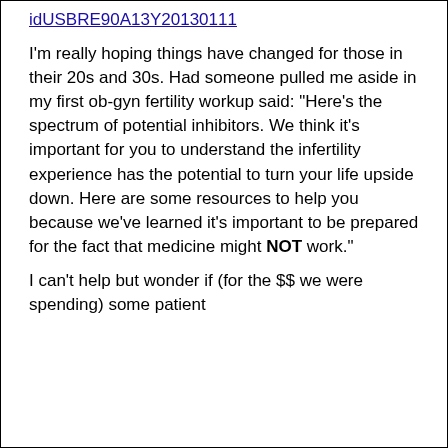idUSBRE90A13Y20130111
I'm really hoping things have changed for those in their 20s and 30s. Had someone pulled me aside in my first ob-gyn fertility workup said: “Here’s the spectrum of potential inhibitors. We think it’s important for you to understand the infertility experience has the potential to turn your life upside down. Here are some resources to help you because we’ve learned it’s important to be prepared for the fact that medicine might NOT work.”
I can’t help but wonder if (for the $$ we were spending) some patient advocacy that included honest...